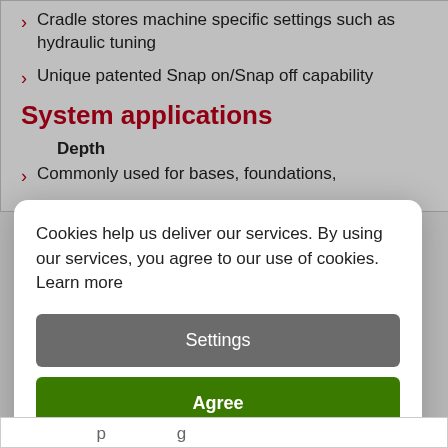Cradle stores machine specific settings such as hydraulic tuning
Unique patented Snap on/Snap off capability
System applications
Depth
Commonly used for bases, foundations,
Cookies help us deliver our services. By using our services, you agree to our use of cookies. Learn more
Settings
Agree